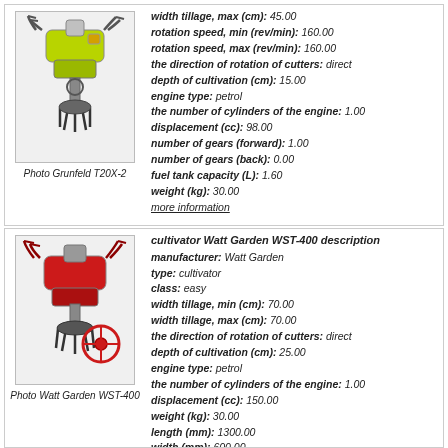[Figure (photo): Photo of Grunfeld T20X-2 cultivator, a green petrol tiller with rotating cutters]
Photo Grunfeld T20X-2
width tillage, max (cm): 45.00
rotation speed, min (rev/min): 160.00
rotation speed, max (rev/min): 160.00
the direction of rotation of cutters: direct
depth of cultivation (cm): 15.00
engine type: petrol
the number of cylinders of the engine: 1.00
displacement (cc): 98.00
number of gears (forward): 1.00
number of gears (back): 0.00
fuel tank capacity (L): 1.60
weight (kg): 30.00
more information
[Figure (photo): Photo of Watt Garden WST-400 cultivator, a red petrol tiller with rotating cutters]
Photo Watt Garden WST-400
cultivator Watt Garden WST-400 description
manufacturer: Watt Garden
type: cultivator
class: easy
width tillage, min (cm): 70.00
width tillage, max (cm): 70.00
the direction of rotation of cutters: direct
depth of cultivation (cm): 25.00
engine type: petrol
the number of cylinders of the engine: 1.00
displacement (cc): 150.00
weight (kg): 30.00
length (mm): 1300.00
width (mm): 600.00
height (mm): 900.00
more information